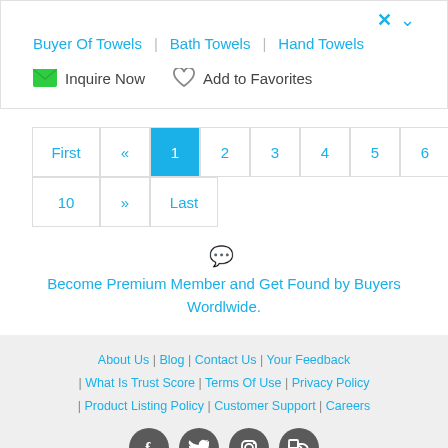Buyer Of Towels | Bath Towels | Hand Towels
Inquire Now  Add to Favorites
First « 1 2 3 4 5 6 7 8 9 10 » Last
Become Premium Member and Get Found by Buyers Wordlwide.
About Us | Blog | Contact Us | Your Feedback | What Is Trust Score | Terms Of Use | Privacy Policy | Product Listing Policy | Customer Support | Careers © go4WorldBusiness.com